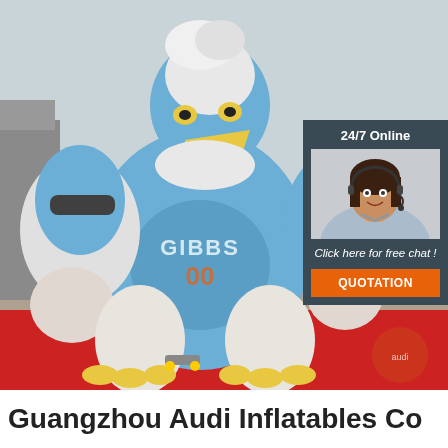[Figure (photo): Large inflatable eagle mascot wearing a blue jersey with 'GIBBS 00' text, standing on a red carpet outdoors. In the upper right corner is an overlay chat widget showing a customer service representative with headset, '24/7 Online' label, 'Click here for free chat!' text, and an orange 'QUOTATION' button.]
Guangzhou Audi Inflatables Co